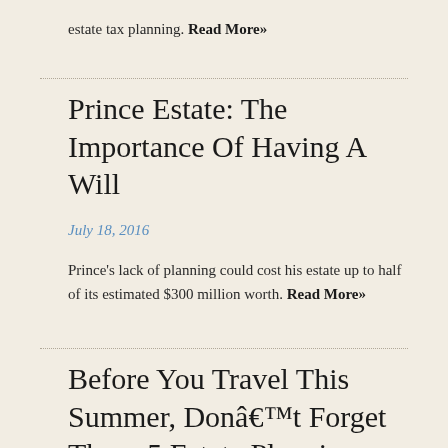estate tax planning. Read More»
Prince Estate: The Importance Of Having A Will
July 18, 2016
Prince's lack of planning could cost his estate up to half of its estimated $300 million worth. Read More»
Before You Travel This Summer, Don't Forget These 5 Estate Planning Must Dos